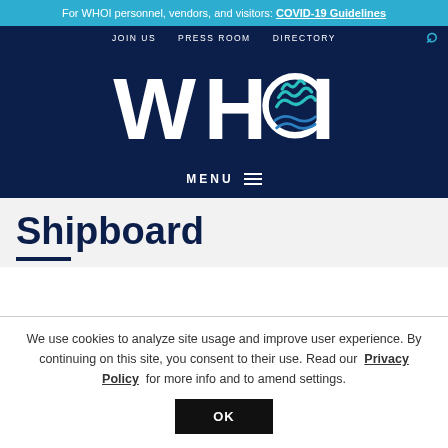For WHOI personnel, vendors, and visitors: COVID-19 Guidelines
JOIN US  PRESS ROOM  DIRECTORY
[Figure (logo): WHOI (Woods Hole Oceanographic Institution) logo in white with teal/blue wave emblem on dark navy background]
MENU
Shipboard
We use cookies to analyze site usage and improve user experience. By continuing on this site, you consent to their use. Read our Privacy Policy for more info and to amend settings.
OK